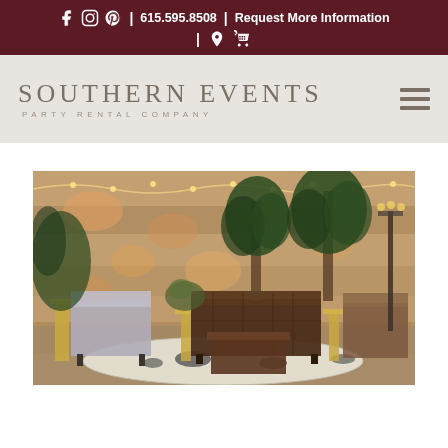f [instagram] [pinterest] | 615.595.8508 | Request More Information | [location] [cart]
[Figure (logo): Southern Events Party Rental Company logo with hamburger menu icon on right]
[Figure (photo): Event lounge setup with dark leather Chesterfield sofa, grey armchair, brown velvet ottoman, cowhide rug, potted trees, gold side tables, string lights, rustic wood wall backdrop]